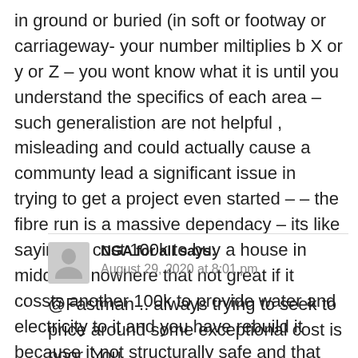in ground or buried (in soft or footway or carriageway- your number miltiplies b X or y or Z – you wont know what it is until you understand the specifics of each area – such generalistion are not helpful , misleading and could actually cause a communty lead a significant issue in trying to get a project even started – – the fibre run is a massive dependacy – its like saying its cost 100k to buy a house in middle of nowhere that not great if it cossts another 100k to provide water and electricity to it and you have rebuild it because it not structurally safe and that costs 250k
NGA for all says: August 29, 2020 at 8:01 pm
@Fastman .. always trying to seek to price around some exceptional cost is poor. You